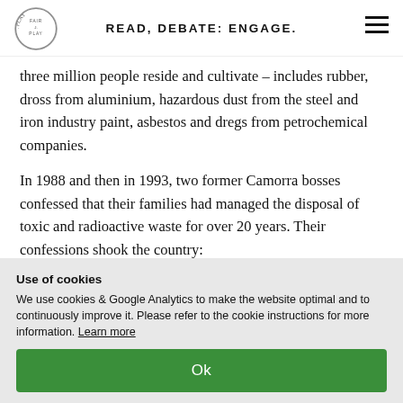READ, DEBATE: ENGAGE.
three million people reside and cultivate – includes rubber, dross from aluminium, hazardous dust from the steel and iron industry paint, asbestos and dregs from petrochemical companies.
In 1988 and then in 1993, two former Camorra bosses confessed that their families had managed the disposal of toxic and radioactive waste for over 20 years. Their confessions shook the country:
Use of cookies
We use cookies & Google Analytics to make the website optimal and to continuously improve it. Please refer to the cookie instructions for more information. Learn more
Ok